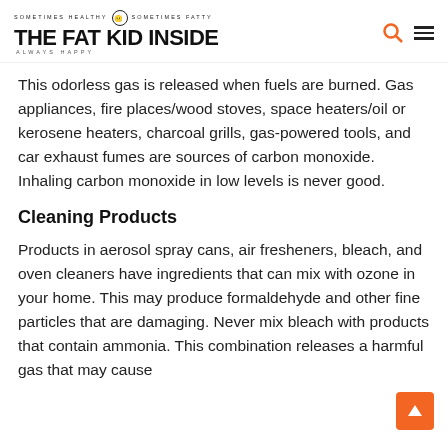SOMETIMES HEALTHY SOMETIMES FATTY THE FAT KID INSIDE ALWAYS HAPPY
This odorless gas is released when fuels are burned. Gas appliances, fire places/wood stoves, space heaters/oil or kerosene heaters, charcoal grills, gas-powered tools, and car exhaust fumes are sources of carbon monoxide. Inhaling carbon monoxide in low levels is never good.
Cleaning Products
Products in aerosol spray cans, air fresheners, bleach, and oven cleaners have ingredients that can mix with ozone in your home. This may produce formaldehyde and other fine particles that are damaging. Never mix bleach with products that contain ammonia. This combination releases a harmful gas that may cause